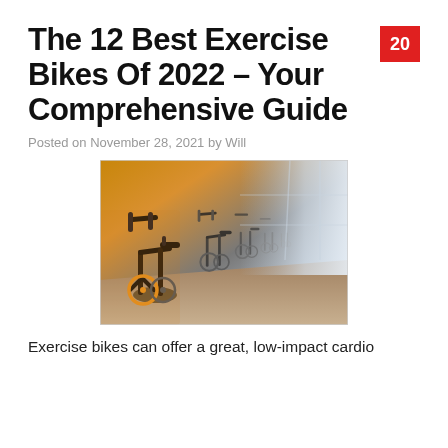The 12 Best Exercise Bikes Of 2022 – Your Comprehensive Guide
Posted on November 28, 2021 by Will
[Figure (photo): Row of spinning exercise bikes in a gym with warm orange lighting on the nearest bike and light-filled windows in the background]
Exercise bikes can offer a great, low-impact cardio